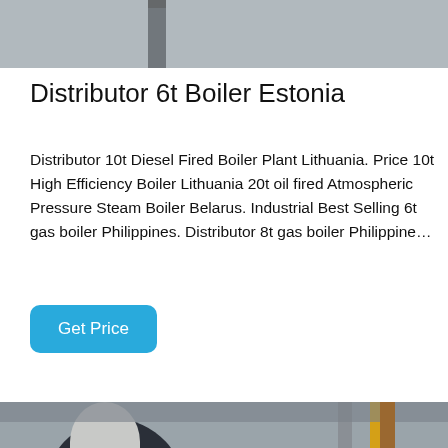[Figure (photo): Partial view of an industrial boiler or chimney stack structure against a grey wall, cropped at top of page.]
Distributor 6t Boiler Estonia
Distributor 10t Diesel Fired Boiler Plant Lithuania. Price 10t High Efficiency Boiler Lithuania 20t oil fired Atmospheric Pressure Steam Boiler Belarus. Industrial Best Selling 6t gas boiler Philippines. Distributor 8t gas boiler Philippine…
[Figure (other): Get Price button — blue rounded rectangle with white text]
[Figure (photo): Industrial boiler room showing large cylindrical boilers, yellow gas pipes, and associated equipment inside a factory building.]